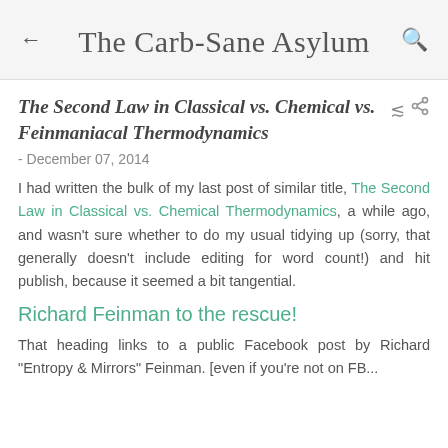The Carb-Sane Asylum
The Second Law in Classical vs. Chemical vs. Feinmaniacal Thermodynamics
- December 07, 2014
I had written the bulk of my last post of similar title, The Second Law in Classical vs. Chemical Thermodynamics, a while ago, and wasn't sure whether to do my usual tidying up (sorry, that generally doesn't include editing for word count!) and hit publish, because it seemed a bit tangential.
Richard Feinman to the rescue!
That heading links to a public Facebook post by Richard "Entropy & Mirrors" Feinman. [even if you're not on FB...